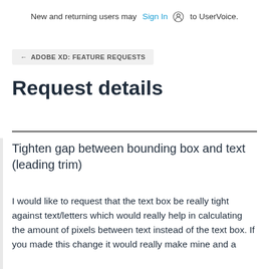New and returning users may Sign In to UserVoice.
← ADOBE XD: FEATURE REQUESTS
Request details
Tighten gap between bounding box and text (leading trim)
I would like to request that the text box be really tight against text/letters which would really help in calculating the amount of pixels between text instead of the text box. If you made this change it would really make mine and a